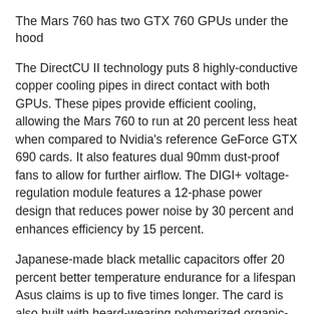The Mars 760 has two GTX 760 GPUs under the hood
The DirectCU II technology puts 8 highly-conductive copper cooling pipes in direct contact with both GPUs. These pipes provide efficient cooling, allowing the Mars 760 to run at 20 percent less heat when compared to Nvidia's reference GeForce GTX 690 cards. It also features dual 90mm dust-proof fans to allow for further airflow. The DIGI+ voltage-regulation module features a 12-phase power design that reduces power noise by 30 percent and enhances efficiency by 15 percent.
Japanese-made black metallic capacitors offer 20 percent better temperature endurance for a lifespan Asus claims is up to five times longer. The card is also built with heard-wearing polymerized organic-semiconductor capacitors (POSCAPs) and has an aluminium backplate further lowering power noise, increasing durability, enhancing overclocking possibilities and improving stability.